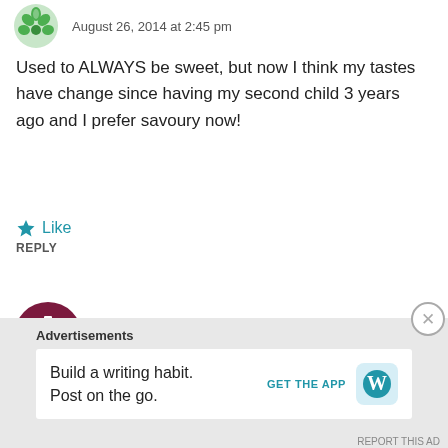August 26, 2014 at 2:45 pm
Used to ALWAYS be sweet, but now I think my tastes have change since having my second child 3 years ago and I prefer savoury now!
Like
REPLY
Barb H
August 26, 2014 at 2:54 pm
Love savoury!!!!
Advertisements
Build a writing habit. Post on the go.
GET THE APP